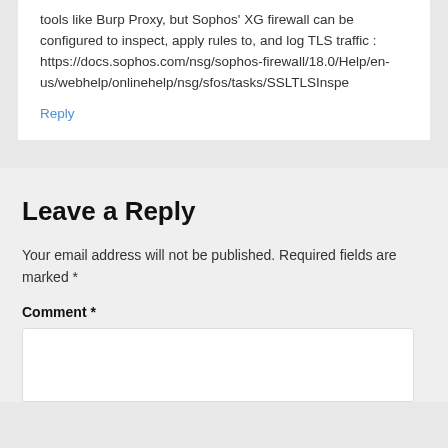tools like Burp Proxy, but Sophos' XG firewall can be configured to inspect, apply rules to, and log TLS traffic : https://docs.sophos.com/nsg/sophos-firewall/18.0/Help/en-us/webhelp/onlinehelp/nsg/sfos/tasks/SSLTLSInspe
Reply
Leave a Reply
Your email address will not be published. Required fields are marked *
Comment *